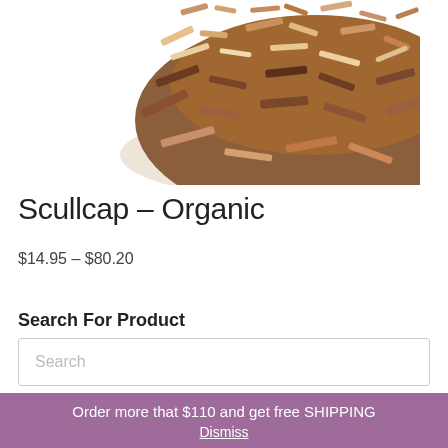[Figure (photo): Close-up photo of dried scullcap herb (brown and tan chopped plant material) on a white background, viewed from above, taking up the top portion of the page.]
Scullcap – Organic
$14.95 – $80.20
Search For Product
Search
Shop For
Order more that $110 and get free SHIPPING
Dismiss